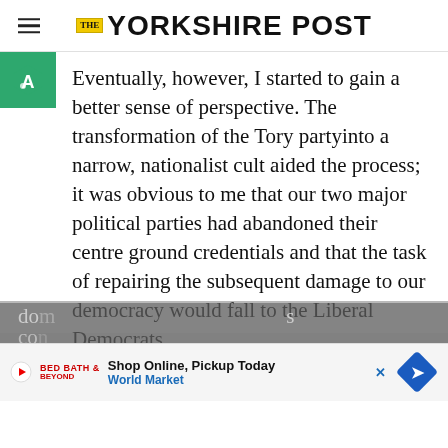THE YORKSHIRE POST
Eventually, however, I started to gain a better sense of perspective. The transformation of the Tory partyinto a narrow, nationalist cult aided the process; it was obvious to me that our two major political parties had abandoned their centre ground credentials and that the task of repairing the subsequent damage to our democracy would fall to the Liberal Democrats.
Our country deserves better than to be do... s co...
[Figure (screenshot): Advertisement bar: Shop Online, Pickup Today – World Market, with play icon, brand logo, and blue diamond navigation icon]